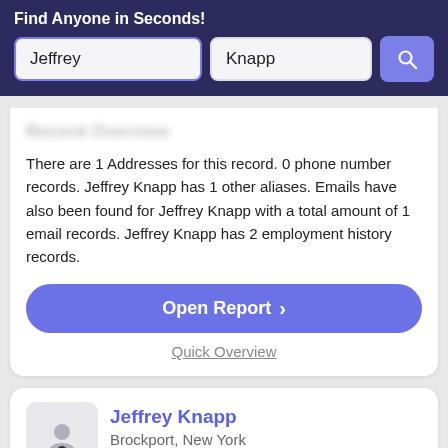Find Anyone in Seconds!
Jeffrey
Knapp
Record Overview
There are 1 Addresses for this record. 0 phone number records. Jeffrey Knapp has 1 other aliases. Emails have also been found for Jeffrey Knapp with a total amount of 1 email records. Jeffrey Knapp has 2 employment history records.
Open Report >
Quick Overview
Jeffrey Knapp
Brockport, New York
Verified Match